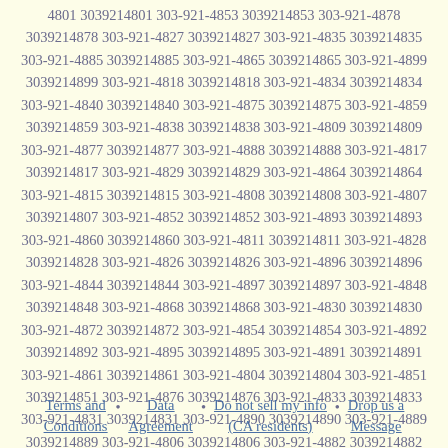4801 3039214801 303-921-4853 3039214853 303-921-4878 3039214878 303-921-4827 3039214827 303-921-4835 3039214835 303-921-4885 3039214885 303-921-4865 3039214865 303-921-4899 3039214899 303-921-4818 3039214818 303-921-4834 3039214834 303-921-4840 3039214840 303-921-4875 3039214875 303-921-4859 3039214859 303-921-4838 3039214838 303-921-4809 3039214809 303-921-4877 3039214877 303-921-4888 3039214888 303-921-4817 3039214817 303-921-4829 3039214829 303-921-4864 3039214864 303-921-4815 3039214815 303-921-4808 3039214808 303-921-4807 3039214807 303-921-4852 3039214852 303-921-4893 3039214893 303-921-4860 3039214860 303-921-4811 3039214811 303-921-4828 3039214828 303-921-4826 3039214826 303-921-4896 3039214896 303-921-4844 3039214844 303-921-4897 3039214897 303-921-4848 3039214848 303-921-4868 3039214868 303-921-4830 3039214830 303-921-4872 3039214872 303-921-4854 3039214854 303-921-4892 3039214892 303-921-4895 3039214895 303-921-4891 3039214891 303-921-4861 3039214861 303-921-4804 3039214804 303-921-4851 3039214851 303-921-4876 3039214876 303-921-4833 3039214833 303-921-4831 3039214831 303-921-4890 3039214890 303-921-4889 3039214889 303-921-4806 3039214806 303-921-4882 3039214882 303-921-4883 3039214883
Terms and Conditions * Data Agreement * Do not sell my info (CA residents) * Drop us a Message